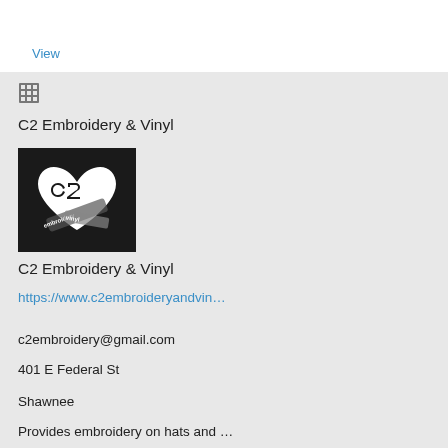View
[Figure (logo): Building/grid icon representing a business listing]
C2 Embroidery & Vinyl
[Figure (logo): C2 Embroidery & Vinyl logo: white C2 heart design on black background]
C2 Embroidery & Vinyl
https://www.c2embroideryandvin…
c2embroidery@gmail.com
401 E Federal St
Shawnee
Provides embroidery on hats and …
View